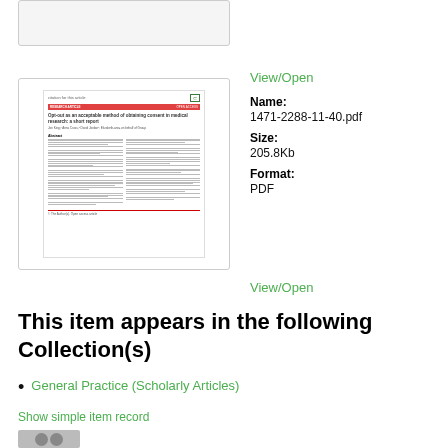[Figure (screenshot): Thumbnail preview of a document page (top, partially shown)]
[Figure (screenshot): Thumbnail preview of document 1471-2288-11-40.pdf showing a medical research article]
View/Open
Name:
1471-2288-11-40.pdf
Size:
205.8Kb
Format:
PDF
View/Open
This item appears in the following Collection(s)
General Practice (Scholarly Articles)
Show simple item record